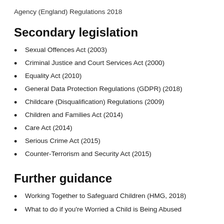Agency (England) Regulations 2018
Secondary legislation
Sexual Offences Act (2003)
Criminal Justice and Court Services Act (2000)
Equality Act (2010)
General Data Protection Regulations (GDPR) (2018)
Childcare (Disqualification) Regulations (2009)
Children and Families Act (2014)
Care Act (2014)
Serious Crime Act (2015)
Counter-Terrorism and Security Act (2015)
Further guidance
Working Together to Safeguard Children (HMG, 2018)
What to do if you're Worried a Child is Being Abused